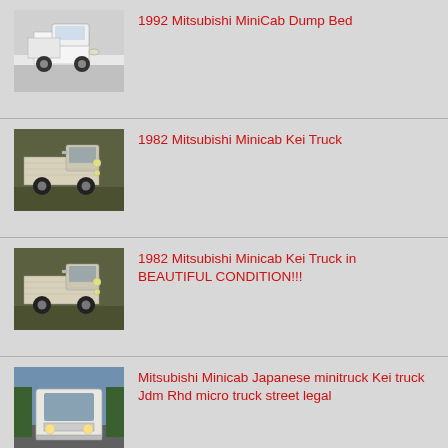[Figure (photo): White 1992 Mitsubishi MiniCab dump bed truck, front-right view, white background]
1992 Mitsubishi MiniCab Dump Bed
[Figure (photo): White/beige 1982 Mitsubishi Minicab Kei Truck, front-left view, outdoor setting with green background]
1982 Mitsubishi Minicab Kei Truck
[Figure (photo): White/beige 1982 Mitsubishi Minicab Kei Truck, front-left view, outdoor setting]
1982 Mitsubishi Minicab Kei Truck in BEAUTIFUL CONDITION!!!
[Figure (photo): White Mitsubishi Minicab Japanese minitruck on a street, front view]
Mitsubishi Minicab Japanese minitruck Kei truck Jdm Rhd micro truck street legal